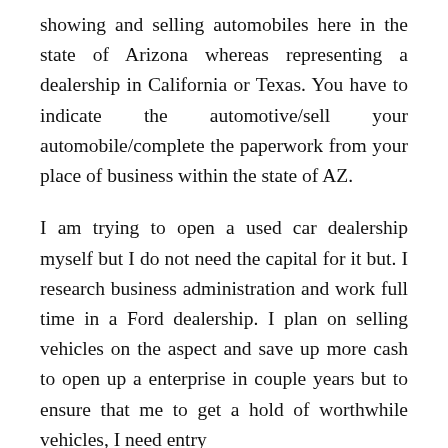showing and selling automobiles here in the state of Arizona whereas representing a dealership in California or Texas. You have to indicate the automotive/sell your automobile/complete the paperwork from your place of business within the state of AZ.
I am trying to open a used car dealership myself but I do not need the capital for it but. I research business administration and work full time in a Ford dealership. I plan on selling vehicles on the aspect and save up more cash to open up a enterprise in couple years but to ensure that me to get a hold of worthwhile vehicles, I need entry to auction which requires a dealer li...